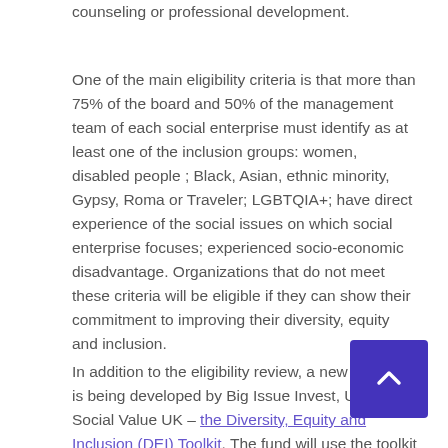counseling or professional development.
One of the main eligibility criteria is that more than 75% of the board and 50% of the management team of each social enterprise must identify as at least one of the inclusion groups: women, disabled people ; Black, Asian, ethnic minority, Gypsy, Roma or Traveler; LGBTQIA+; have direct experience of the social issues on which social enterprise focuses; experienced socio-economic disadvantage. Organizations that do not meet these criteria will be eligible if they can show their commitment to improving their diversity, equity and inclusion.
In addition to the eligibility review, a new resource is being developed by Big Issue Invest, UnLtd and Social Value UK – the Diversity, Equity and Inclusion (DEI) Toolkit. The fund will use the toolkit to assess potential grantees' existing commitments and DEI improvement plans and provide support as needed. An open source